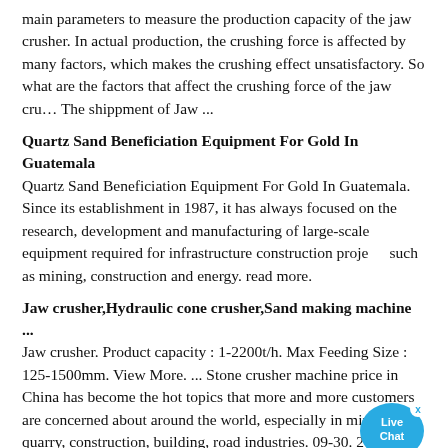main parameters to measure the production capacity of the jaw crusher. In actual production, the crushing force is affected by many factors, which makes the crushing effect unsatisfactory. So what are the factors that affect the crushing force of the jaw cru… The shippment of Jaw ...
Quartz Sand Beneficiation Equipment For Gold In Guatemala
Quartz Sand Beneficiation Equipment For Gold In Guatemala. Since its establishment in 1987, it has always focused on the research, development and manufacturing of large-scale equipment required for infrastructure construction proje… such as mining, construction and energy. read more.
[Figure (other): Live Chat button - blue circular chat bubble with 'Live Chat' text and an X close button]
Jaw crusher,Hydraulic cone crusher,Sand making machine ...
Jaw crusher. Product capacity : 1-2200t/h. Max Feeding Size : 125-1500mm. View More. ... Stone crusher machine price in China has become the hot topics that more and more customers are concerned about around the world, especially in mining, quarry, construction, building, road industries. 09-30. 2018. Gold Mining Rock Crusher For Sale.
New Designed 50-800tph Stone Crushing Machine Hot-Sellin…
Jaw rock crusher plant case1: Its main material is the aggregates, and the finished products of the jaw crusher machines are used for local hydropower infrastructure construction. The three-stage project includes the jaw crusher, cone crusher and sand maker to process the pebble, among